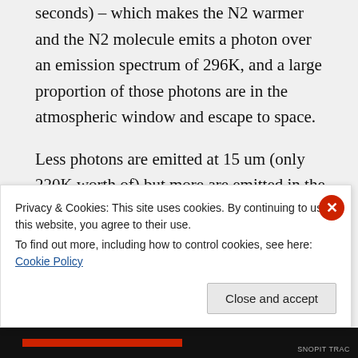seconds) – which makes the N2 warmer and the N2 molecule emits a photon over an emission spectrum of 296K, and a large proportion of those photons are in the atmospheric window and escape to space.

Less photons are emitted at 15 um (only 220K worth of) but more are emitted in the windows (296K) and the equilibrium 255K is still
Privacy & Cookies: This site uses cookies. By continuing to use this website, you agree to their use.
To find out more, including how to control cookies, see here: Cookie Policy